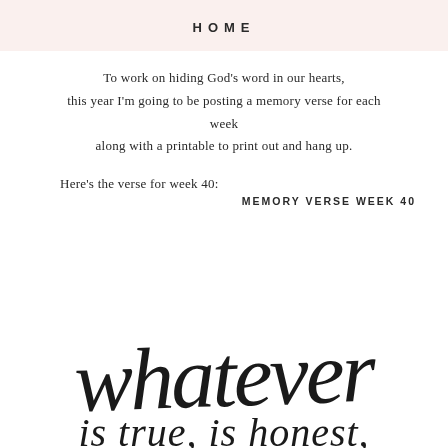HOME
To work on hiding God's word in our hearts, this year I'm going to be posting a memory verse for each week along with a printable to print out and hang up.
Here's the verse for week 40:
MEMORY VERSE WEEK 40
[Figure (illustration): Handwritten cursive script reading 'whatever' in large decorative letters, with partial text of another line below it]